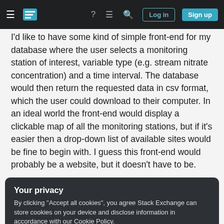Stack Exchange navigation bar with Log in and Sign up buttons
I'd like to have some kind of simple front-end for my database where the user selects a monitoring station of interest, variable type (e.g. stream nitrate concentration) and a time interval. The database would then return the requested data in csv format, which the user could download to their computer. In an ideal world the front-end would display a clickable map of all the monitoring stations, but if it's easier then a drop-down list of available sites would be fine to begin with. I guess this front-end would probably be a website, but it doesn't have to be.
Your privacy
By clicking "Accept all cookies", you agree Stack Exchange can store cookies on your device and disclose information in accordance with our Cookie Policy.
Accept all cookies  Customize settings
development or web GIS, but I'm keen to learn